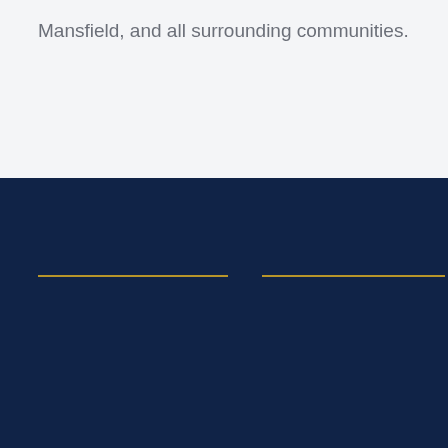Mansfield, and all surrounding communities.
[Figure (other): Dark navy blue footer section with two horizontal gold decorative lines side by side]